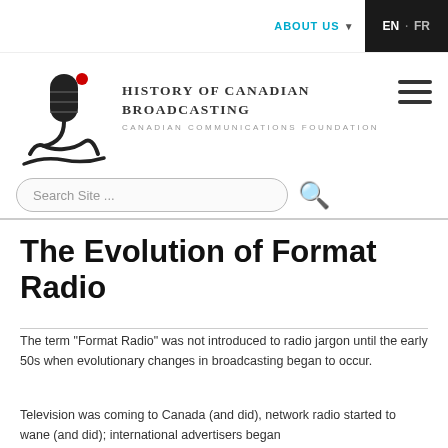ABOUT US  EN · FR
[Figure (logo): History of Canadian Broadcasting / Canadian Communications Foundation logo with microphone graphic]
History of Canadian Broadcasting
Canadian Communications Foundation
Search Site ...
The Evolution of Format Radio
The term "Format Radio" was not introduced to radio jargon until the early 50s when evolutionary changes in broadcasting began to occur.
Television was coming to Canada (and did), network radio started to wane (and did); international advertisers began